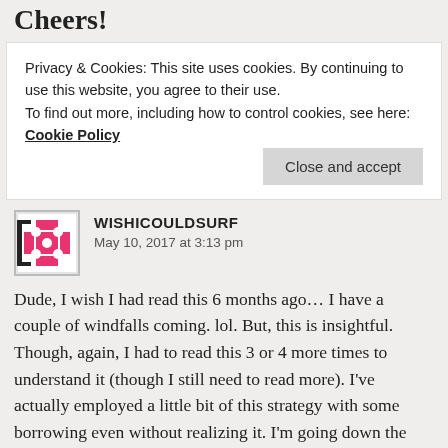Cheers!
Privacy & Cookies: This site uses cookies. By continuing to use this website, you agree to their use.
To find out more, including how to control cookies, see here: Cookie Policy
Close and accept
WISHICOULDSURF
May 10, 2017 at 3:13 pm
Dude, I wish I had read this 6 months ago... I have a couple of windfalls coming. lol. But, this is insightful. Though, again, I had to read this 3 or 4 more times to understand it (though I still need to read more). I've actually employed a little bit of this strategy with some borrowing even without realizing it. I'm going down the rabbit hole and reading a little more with your lack of an emergency fund thought again as I'm 60 days out from pulling the plug, though I had pretty much settled on a strategy for